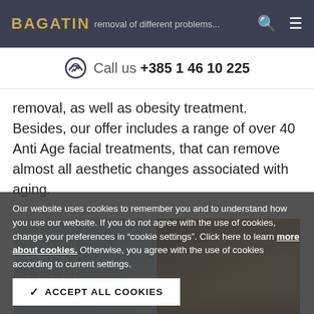BAGATIN — treatments which represent the state-of-the-art removal of different problems. Navigation with search and menu icons.
Call us +385 1 46 10 225
removal, as well as obesity treatment. Besides, our offer includes a range of over 40 Anti Age facial treatments, that can remove almost all aesthetic changes associated with aging.
[Figure (photo): Two-panel photo: left panel shows a bright clinical interior with vertical window blinds; right panel shows a person reclining with golden/warm tones.]
Our website uses cookies to remember you and to understand how you use our website. If you do not agree with the use of cookies, change your preferences in “cookie settings”. Click here to learn more about cookies. Otherwise, you agree with the use of cookies according to current settings.
ACCEPT ALL COOKIES